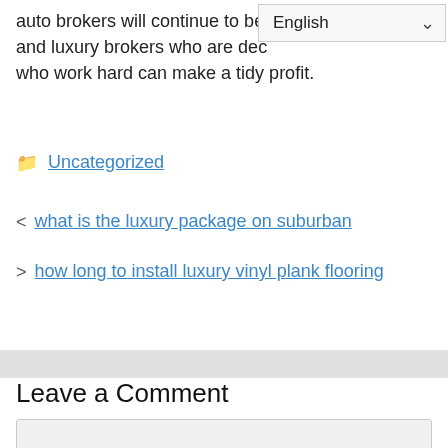auto brokers will continue to be… and luxury brokers who are dec… who work hard can make a tidy profit.
Uncategorized
< what is the luxury package on suburban
> how long to install luxury vinyl plank flooring
Leave a Comment